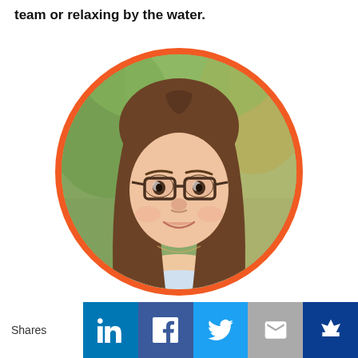team or relaxing by the water.
[Figure (photo): Circular portrait photo of a woman with long brown hair and glasses, wearing a light blue top, outdoors with a blurred green background. Photo has an orange circular border.]
Shares
[Figure (infographic): Social sharing bar with LinkedIn, Facebook, Twitter, Email, and Crown/Bookmark buttons.]